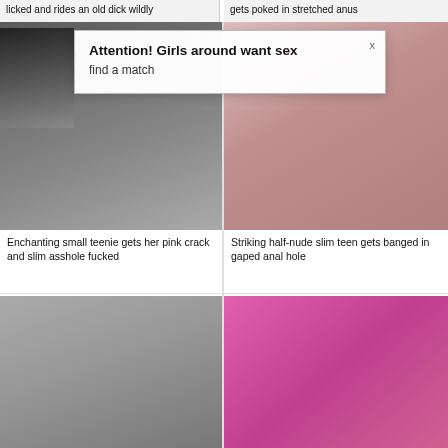licked and rides an old dick wildly
gets poked in stretched anus
[Figure (photo): Small thumbnail photo top left corner]
Attention! Girls around want sex
find a match
[Figure (photo): Video thumbnail: Enchanting small teenie gets her pink crack and slim asshole fucked]
Enchanting small teenie gets her pink crack and slim asshole fucked
[Figure (photo): Video thumbnail: Striking half-nude slim teen gets banged in gaped anal hole]
Striking half-nude slim teen gets banged in gaped anal hole
[Figure (photo): Video thumbnail: Small titted slim old woman pleases two men]
Small titted slim old woman pleases two men
[Figure (photo): Video thumbnail: Slim Asian babe Megumi Shino hard fucked by two males - More at]
Slim Asian babe Megumi Shino hard fucked by two males - More at